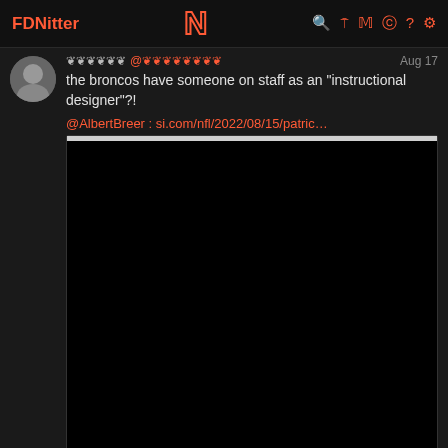FDNitter  N  [icons]
the broncos have someone on staff as an "instructional designer"?!
@AlbertBreer : si.com/nfl/2022/08/15/patric…
[Figure (screenshot): Embedded tweet image, mostly black/dark content]
💬 9  🔁 3  💬 7  ♥ 39
Albert Breer ✓ @AlbertBreer  Aug 17